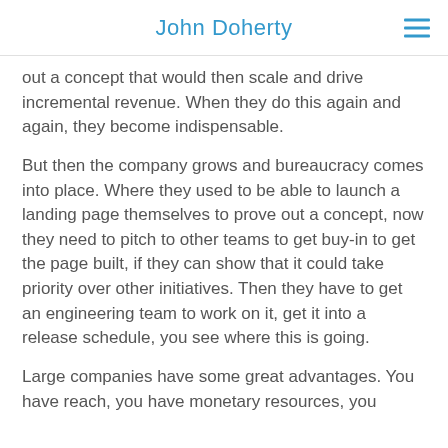John Doherty
out a concept that would then scale and drive incremental revenue. When they do this again and again, they become indispensable.
But then the company grows and bureaucracy comes into place. Where they used to be able to launch a landing page themselves to prove out a concept, now they need to pitch to other teams to get buy-in to get the page built, if they can show that it could take priority over other initiatives. Then they have to get an engineering team to work on it, get it into a release schedule, you see where this is going.
Large companies have some great advantages. You have reach, you have monetary resources, you